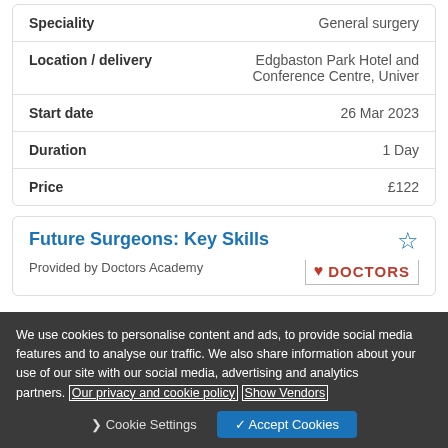| Field | Value |
| --- | --- |
| Speciality | General surgery |
| Location / delivery | Edgbaston Park Hotel and Conference Centre, Univer |
| Start date | 26 Mar 2023 |
| Duration | 1 Day |
| Price | £122 |
Future Surgeons: Key Skills
Provided by Doctors Academy
We use cookies to personalise content and ads, to provide social media features and to analyse our traffic. We also share information about your use of our site with our social media, advertising and analytics partners. Our privacy and cookie policy Show Vendors